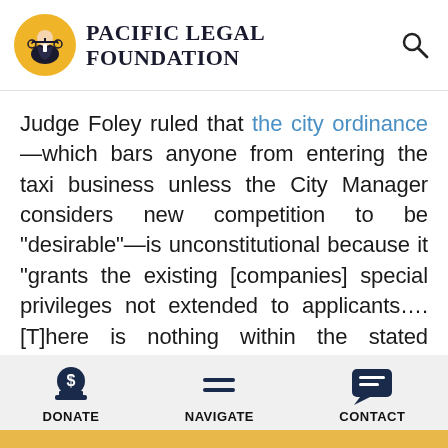Pacific Legal Foundation
Judge Foley ruled that the city ordinance—which bars anyone from entering the taxi business unless the City Manager considers new competition to be “desirable”—is unconstitutional because it “grants the existing [companies] special privileges not extended to applicants…. [T]here is nothing within the stated purpose and special privileges that advances the health, safety or welfare of the public,” and “no evidence that the City Manager is bound to grant or deny a
DONATE  NAVIGATE  CONTACT